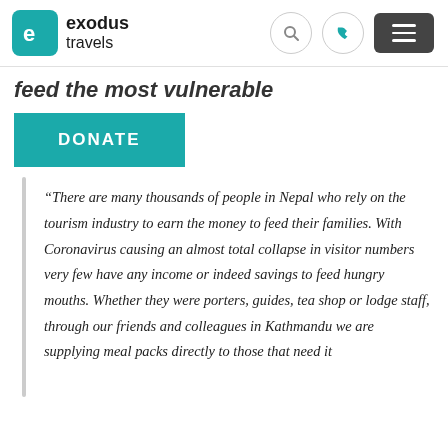exodus travels
feed the most vulnerable
DONATE
“There are many thousands of people in Nepal who rely on the tourism industry to earn the money to feed their families. With Coronavirus causing an almost total collapse in visitor numbers very few have any income or indeed savings to feed hungry mouths. Whether they were porters, guides, tea shop or lodge staff, through our friends and colleagues in Kathmandu we are supplying meal packs directly to those that need it